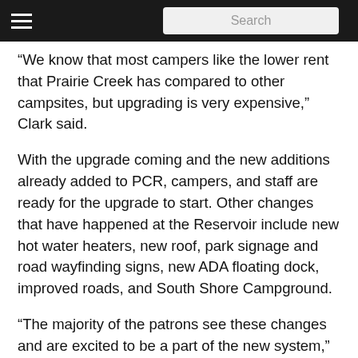Search
“We know that most campers like the lower rent that Prairie Creek has compared to other campsites, but upgrading is very expensive,” Clark said.
With the upgrade coming and the new additions already added to PCR, campers, and staff are ready for the upgrade to start. Other changes that have happened at the Reservoir include new hot water heaters, new roof, park signage and road wayfinding signs, new ADA floating dock, improved roads, and South Shore Campground.
“The majority of the patrons see these changes and are excited to be a part of the new system,” Clark said.
Both the City of Muncie and the staff of PCR expect the process to take years to get the new system installed. But until that change happens, PCR will still be using their 30-